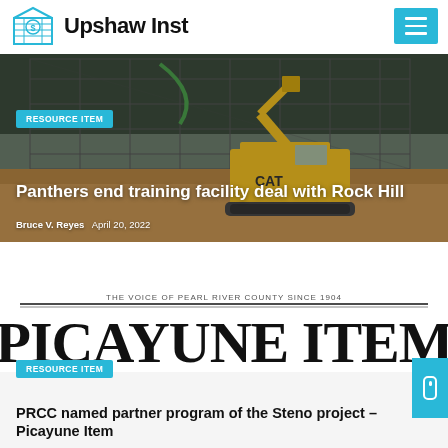Upshaw Inst
[Figure (photo): Construction site with CAT excavator, scaffolding structure in background]
RESOURCE ITEM
Panthers end training facility deal with Rock Hill
Bruce V. Reyes   April 20, 2022
[Figure (logo): Picayune Item newspaper logo - The Voice of Pearl River County Since 1904]
RESOURCE ITEM
PRCC named partner program of the Steno project – Picayune Item